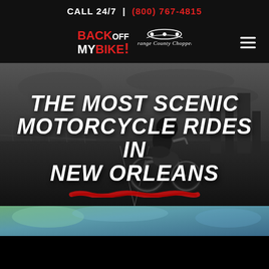CALL 24/7 | (800) 767-4815
[Figure (logo): Back Off My Bike! and Orange County Choppers (OCC) logos with hamburger menu]
[Figure (photo): Grayscale hero image of motorcyclist on road with city skyline in background]
THE MOST SCENIC MOTORCYCLE RIDES IN NEW ORLEANS
[Figure (photo): Bottom color strip showing partial landscape/scenic image]